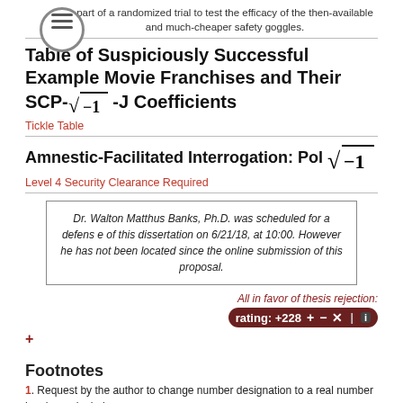part of a randomized trial to test the efficacy of the then-available and much-cheaper safety goggles.
Table of Suspiciously Successful Example Movie Franchises and Their SCP-√−1 -J Coefficients
Tickle Table
Amnestic-Facilitated Interrogation: Pol √−1
Level 4 Security Clearance Required
Dr. Walton Matthus Banks, Ph.D. was scheduled for a defense of this dissertation on 6/21/18, at 10:00. However he has not been located since the online submission of this proposal.
All in favor of thesis rejection:
rating: +228
+
Footnotes
1. Request by the author to change number designation to a real number has been denied.